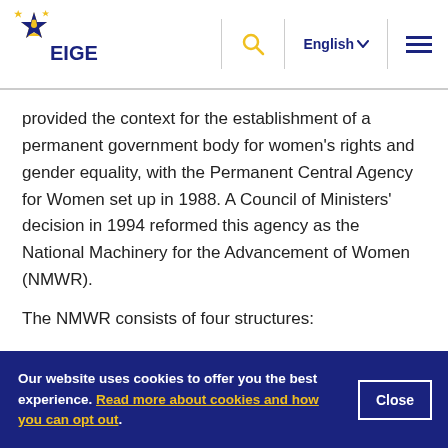EIGE | English
provided the context for the establishment of a permanent government body for women’s rights and gender equality, with the Permanent Central Agency for Women set up in 1988. A Council of Ministers’ decision in 1994 reformed this agency as the National Machinery for the Advancement of Women (NMWR).
The NMWR consists of four structures:
Our website uses cookies to offer you the best experience. Read more about cookies and how you can opt out.